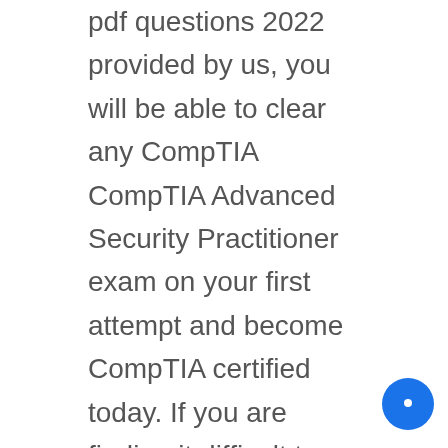pdf questions 2022 provided by us, you will be able to clear any CompTIA CompTIA Advanced Security Practitioner exam on your first attempt and become CompTIA certified today. If you are finding it difficult to clear your CompTIA Advanced Security Practitioner exam, then you should consider checking out our CompTIA CompTIA Advanced Security Practitioner preparation material and you will be able to clear your exam on your first attempt. We have multiple products that you can use so you can prepare for the CompTIA CompTIA Advanced Security Practitioner exam easily. Moreover, you should check out our CompTIA CompTIA Advanced Security Practitioner practice exam questions that will help you assess your current preparation level.
Get Your Money Back
We are also providing a money-back guarantee on all of our products. If you are purchasing our practice exam questions,